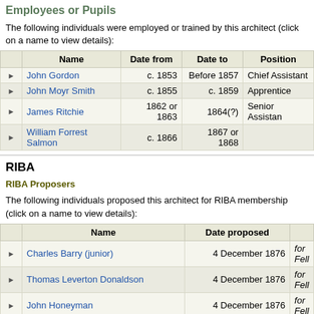Employees or Pupils
The following individuals were employed or trained by this architect (click on a name to view details):
|  | Name | Date from | Date to | Position |
| --- | --- | --- | --- | --- |
| ▶ | John Gordon | c. 1853 | Before 1857 | Chief Assistant |
| ▶ | John Moyr Smith | c. 1855 | c. 1859 | Apprentice |
| ▶ | James Ritchie | 1862 or 1863 | 1864(?) | Senior Assistant |
| ▶ | William Forrest Salmon | c. 1866 | 1867 or 1868 |  |
RIBA
RIBA Proposers
The following individuals proposed this architect for RIBA membership (click on a name to view details):
|  | Name | Date proposed |  |
| --- | --- | --- | --- |
| ▶ | Charles Barry (junior) | 4 December 1876 | for Fell... |
| ▶ | Thomas Leverton Donaldson | 4 December 1876 | for Fell... |
| ▶ | John Honeyman | 4 December 1876 | for Fell... |
RIBA Proposals
This architect proposed the following individuals for RIBA membership (click on a name to view details):